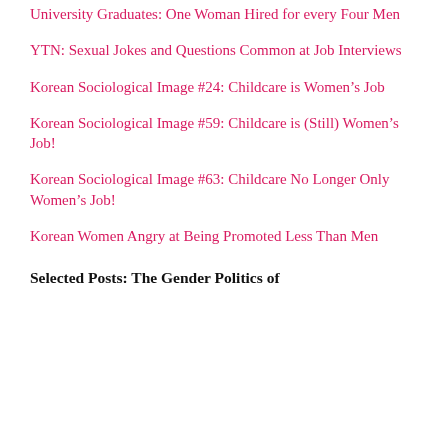University Graduates: One Woman Hired for every Four Men
YTN: Sexual Jokes and Questions Common at Job Interviews
Korean Sociological Image #24: Childcare is Women’s Job
Korean Sociological Image #59: Childcare is (Still) Women’s Job!
Korean Sociological Image #63: Childcare No Longer Only Women’s Job!
Korean Women Angry at Being Promoted Less Than Men
Selected Posts: The Gender Politics of